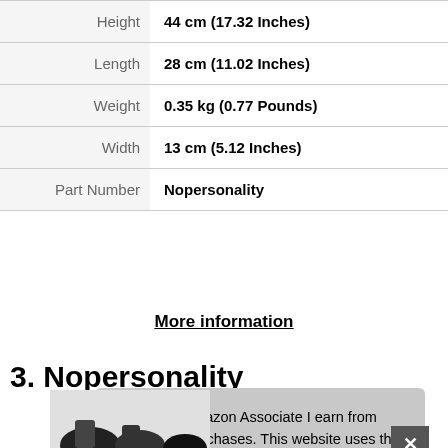| Attribute | Value |
| --- | --- |
| Height | 44 cm (17.32 Inches) |
| Length | 28 cm (11.02 Inches) |
| Weight | 0.35 kg (0.77 Pounds) |
| Width | 13 cm (5.12 Inches) |
| Part Number | Nopersonality |
More information
3. Nopersonality
As an Amazon Associate I earn from qualifying purchases. This website uses the only necessary cookies to ensure you get the best experience on our website. More information